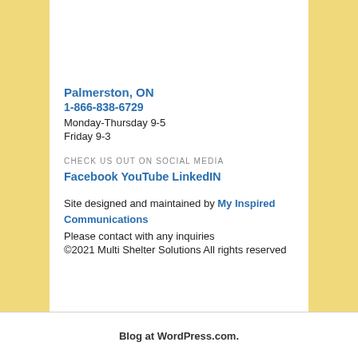[Figure (map): Google Maps partial view showing District Community area with road 91 and green location pin]
Palmerston, ON
1-866-838-6729
Monday-Thursday 9-5
Friday 9-3
CHECK US OUT ON SOCIAL MEDIA
Facebook YouTube LinkedIN
Site designed and maintained by My Inspired Communications
Please contact with any inquiries
©2021 Multi Shelter Solutions All rights reserved
Blog at WordPress.com.